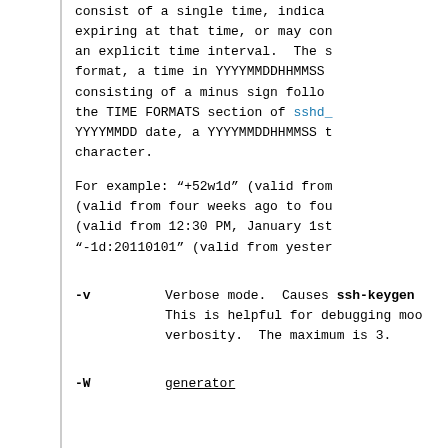consist of a single time, indica expiring at that time, or may con an explicit time interval.  The s format, a time in YYYYMMDDHHMMSS consisting of a minus sign follo the TIME FORMATS section of sshd_ YYYYMMDD date, a YYYYMMDDHHMMSS t character.
For example: “+52w1d” (valid from (valid from four weeks ago to fou (valid from 12:30 PM, January 1st “-1d:20110101” (valid from yester
-v     Verbose mode.  Causes ssh-keygen This is helpful for debugging mo verbosity.  The maximum is 3.
-W generator